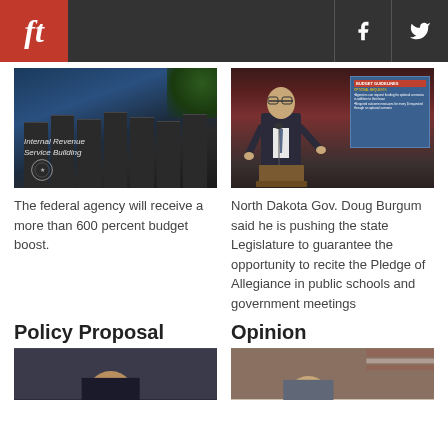ft [logo] | f | Twitter
[Figure (photo): Internal Revenue Service Building exterior with pillars and eagle seal]
[Figure (photo): North Dakota Governor Doug Burgum speaking at podium with Budget Guidelines slide presentation behind him]
The federal agency will receive a more than 600 percent budget boost.
North Dakota Gov. Doug Burgum said he is pushing the state Legislature to guarantee the opportunity to recite the Pledge of Allegiance in public schools and government meetings
Policy Proposal
Opinion
[Figure (photo): Man in dark suit, partial view from below]
[Figure (photo): Woman, partial view, with flag in background]